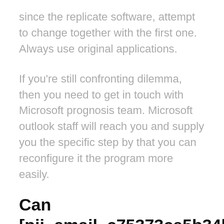since the replicate software, attempt to change together with the first one. Always use original applications.
If you're still confronting dilemma, then you need to get in touch with Microsoft prognosis team. Microsoft outlook staff will reach you and supply you the specific step by that you can reconfigure it the program more easily.
Can [pii_email_c75373ce5b34bf577425] malfunction occur?
[pii_email_c75373ce5b34bf577425] Malfunction may occur due to this Setup process. This could be one reason for a version of prediction or your PC